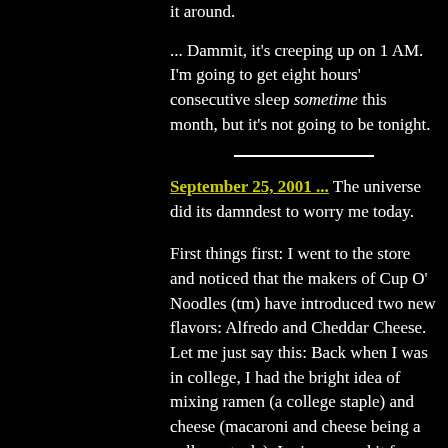it around.
... Dammit, it's creeping up on 1 AM. I'm going to get eight hours' consecutive sleep sometime this month, but it's not going to be tonight.
September 25, 2001 ... The universe did its damndest to worry me today.
First things first: I went to the store and noticed that the makers of Cup O' Noodles (tm) have introduced two new flavors: Alfredo and Cheddar Cheese. Let me just say this: Back when I was in college, I had the bright idea of mixing ramen (a college staple) and cheese (macaroni and cheese being a college staple). I microwaved it for a while to melt the cheese, and -- to make a long story short -- ended up with a foul orange noodle-cheese-ball-lump of dubious organic content. That was one of the very few meals in my life I have ever refused